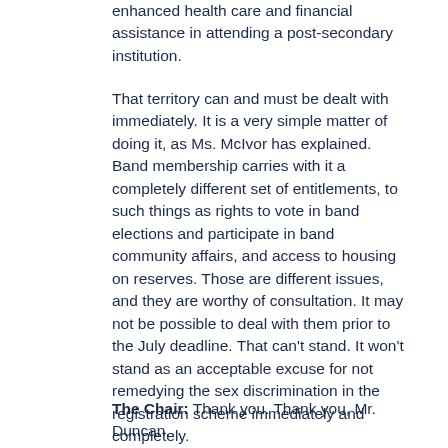enhanced health care and financial assistance in attending a post-secondary institution.
That territory can and must be dealt with immediately. It is a very simple matter of doing it, as Ms. McIvor has explained. Band membership carries with it a completely different set of entitlements, to such things as rights to vote in band elections and participate in band community affairs, and access to housing on reserves. Those are different issues, and they are worthy of consultation. It may not be possible to deal with them prior to the July deadline. That can't stand. It won't stand as an acceptable excuse for not remedying the sex discrimination in the registration scheme immediately and completely.
The Chair: Thank you. Thank you, Mr. Duncan.